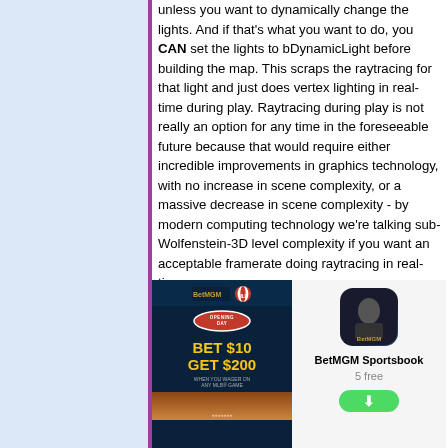unless you want to dynamically change the lights. And if that's what you want to do, you CAN set the lights to bDynamicLight before building the map. This scraps the raytracing for that light and just does vertex lighting in real-time during play. Raytracing during play is not really an option for any time in the foreseeable future because that would require either incredible improvements in graphics technology, with no increase in scene complexity, or a massive decrease in scene complexity - by modern computing technology we're talking sub-Wolfenstein-3D level complexity if you want an acceptable framerate doing raytracing in real-time.
[Figure (screenshot): Advertisement: BetMGM Sportsbook - Opening Day Bet $10 Get $200 on any MLB game]